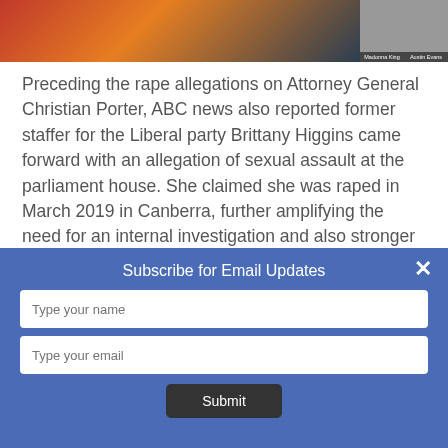[Figure (photo): Top image strip showing a news article header with photos of Madonna King and Austin Evans on the right side]
Preceding the rape allegations on Attorney General Christian Porter, ABC news also reported former staffer for the Liberal party Brittany Higgins came forward with an allegation of sexual assault at the parliament house. She claimed she was raped in March 2019 in Canberra, further amplifying the need for an internal investigation and also stronger
Subscribe for Email Updates
Type your name
Type your email
Submit